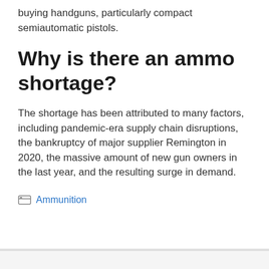buying handguns, particularly compact semiautomatic pistols.
Why is there an ammo shortage?
The shortage has been attributed to many factors, including pandemic-era supply chain disruptions, the bankruptcy of major supplier Remington in 2020, the massive amount of new gun owners in the last year, and the resulting surge in demand.
Ammunition